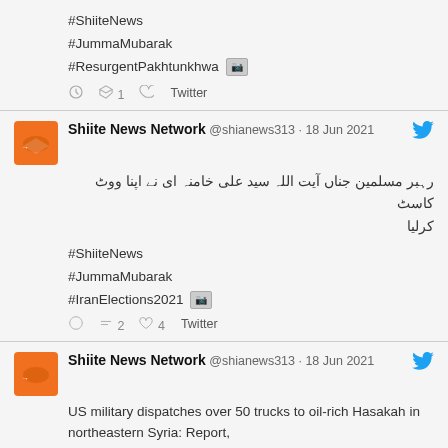#ShiiteNews
#JummaMubarak
#ResurgentPakhtunkhwa [image icon]
reply  retweet 1  like  Twitter
Shiite News Network @shianews313 · 18 Jun 2021
رہبر مسلمین جناں آیت اللہ سید علی خامنہ ای نے اپنا ووٹ کاسٹ کرلیا
#ShiiteNews
#JummaMubarak
#IranElections2021 [image icon]
reply  retweet 2  like 4  Twitter
Shiite News Network @shianews313 · 18 Jun 2021
US military dispatches over 50 trucks to oil-rich Hasakah in northeastern Syria: Report,
,https://shiite.news/shiitenews/middle-east/item/132664-us-mi...,